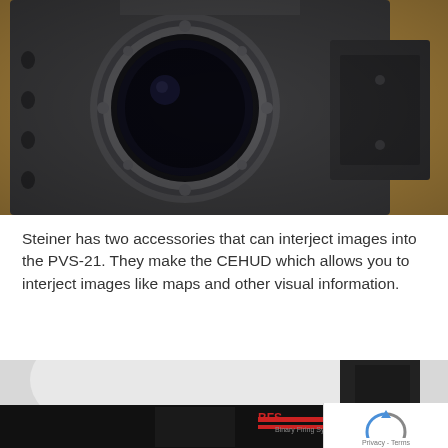[Figure (photo): Close-up photo of a night vision device (Steiner PVS-21) showing the objective lens housing in dark gray/black matte finish with screws and mounting hardware visible, with a blurred wooden background.]
Steiner has two accessories that can interject images into the PVS-21. They make the CEHUD which allows you to interject images like maps and other visual information.
[Figure (photo): Partially visible photo of a soldier wearing a white helmet with night vision device mounted, with a Franklin Armory advertisement banner overlaid at the bottom showing a shooter with rifle and the BFS III logo.]